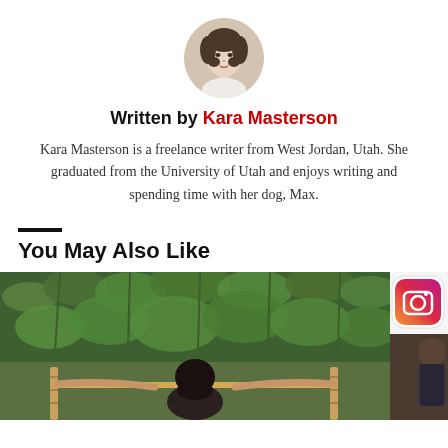[Figure (photo): Circular author photo of Kara Masterson, a woman with dark curly hair, vintage style, against a light beige background]
Written by Kara Masterson
Kara Masterson is a freelance writer from West Jordan, Utah. She graduated from the University of Utah and enjoys writing and spending time with her dog, Max.
You May Also Like
[Figure (photo): A person with dark hair seen from behind, arms outstretched holding bamboo poles, surrounded by dense green leafy cannabis plants. Partially visible Instagram icon in top right corner with a partial photo of a person in dark clothing.]